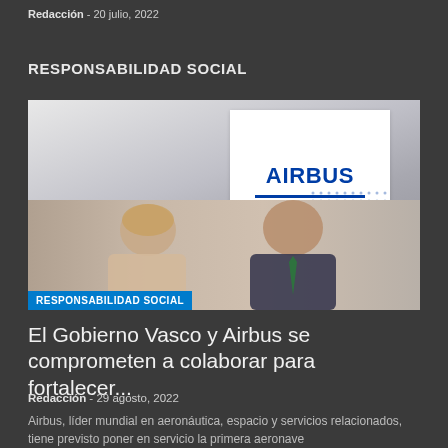Redacción - 20 julio, 2022
RESPONSABILIDAD SOCIAL
[Figure (photo): Two people signing a document in front of an Airbus branded banner. A woman on the left with short grey hair and a man on the right in a dark suit with a green tie, both smiling and looking down.]
RESPONSABILIDAD SOCIAL
El Gobierno Vasco y Airbus se comprometen a colaborar para fortalecer...
Redacción - 29 agosto, 2022
Airbus, líder mundial en aeronáutica, espacio y servicios relacionados, tiene previsto poner en servicio la primera aeronave